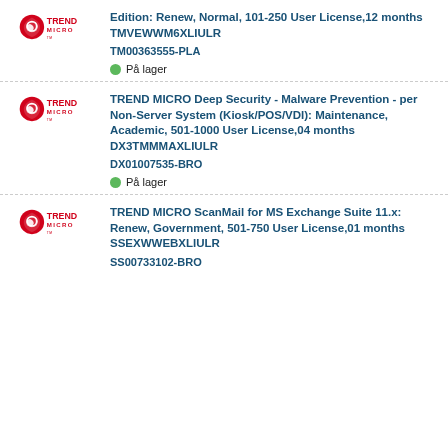Edition: Renew, Normal, 101-250 User License,12 months TMVEWWM6XLIULR
TM00363555-PLA
På lager
TREND MICRO Deep Security - Malware Prevention - per Non-Server System (Kiosk/POS/VDI): Maintenance, Academic, 501-1000 User License,04 months DX3TMMMAXLIULR
DX01007535-BRO
På lager
TREND MICRO ScanMail for MS Exchange Suite 11.x: Renew, Government, 501-750 User License,01 months SSEXWWEBXLIULR
SS00733102-BRO